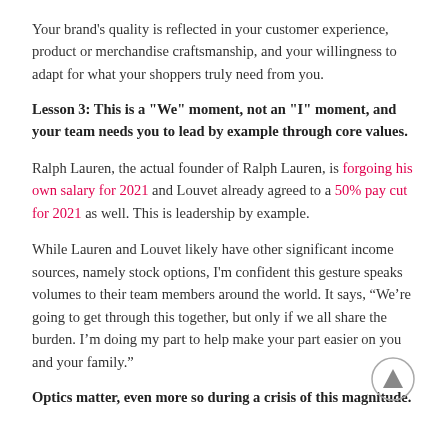Your brand's quality is reflected in your customer experience, product or merchandise craftsmanship, and your willingness to adapt for what your shoppers truly need from you.
Lesson 3: This is a "We" moment, not an "I" moment, and your team needs you to lead by example through core values.
Ralph Lauren, the actual founder of Ralph Lauren, is forgoing his own salary for 2021 and Louvet already agreed to a 50% pay cut for 2021 as well. This is leadership by example.
While Lauren and Louvet likely have other significant income sources, namely stock options, I'm confident this gesture speaks volumes to their team members around the world. It says, “We’re going to get through this together, but only if we all share the burden. I’m doing my part to help make your part easier on you and your family.”
Optics matter, even more so during a crisis of this magnitude.